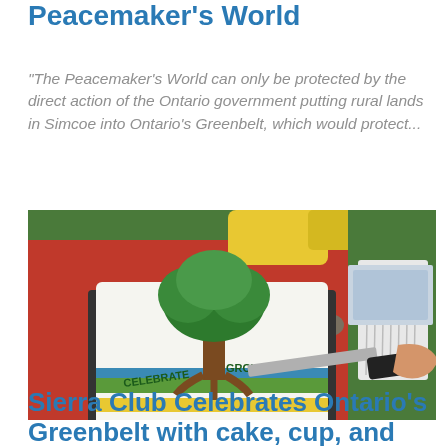Peacemaker's World
"The Peacemaker's World can only be protected by the direct action of the Ontario government putting rural lands in Simcoe into Ontario's Greenbelt, which would protect...
[Figure (photo): A decorated white cake with a green tree design and the words 'CELEBRATE GROW' on it, being cut with a knife. The cake sits on a red surface surrounded by a green table with yellow containers and plastic utensils in the background.]
Sierra Club Celebrates Ontario's Greenbelt with cake, cup, and a...